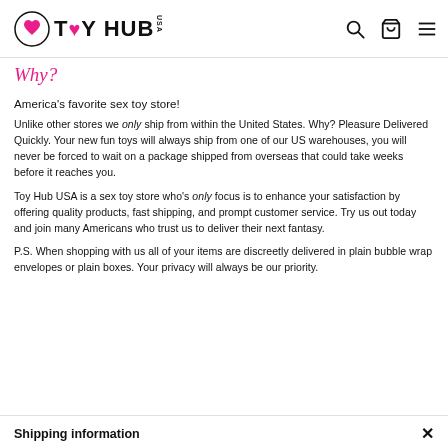TOY HUB USA
Why?
America's favorite sex toy store!
Unlike other stores we only ship from within the United States. Why? Pleasure Delivered Quickly. Your new fun toys will always ship from one of our US warehouses, you will never be forced to wait on a package shipped from overseas that could take weeks before it reaches you.
Toy Hub USA is a sex toy store who's only focus is to enhance your satisfaction by offering quality products, fast shipping, and prompt customer service. Try us out today and join many Americans who trust us to deliver their next fantasy.
P.S. When shopping with us all of your items are discreetly delivered in plain bubble wrap envelopes or plain boxes. Your privacy will always be our priority.
Shipping information